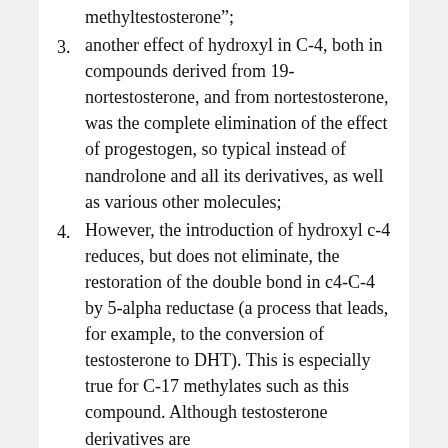methyltestosterone”;
another effect of hydroxyl in C-4, both in compounds derived from 19-nortestosterone, and from nortestosterone, was the complete elimination of the effect of progestogen, so typical instead of nandrolone and all its derivatives, as well as various other molecules;
However, the introduction of hydroxyl c-4 reduces, but does not eliminate, the restoration of the double bond in c4-C-4 by 5-alpha reductase (a process that leads, for example, to the conversion of testosterone to DHT). This is especially true for C-17 methylates such as this compound. Although testosterone derivatives are